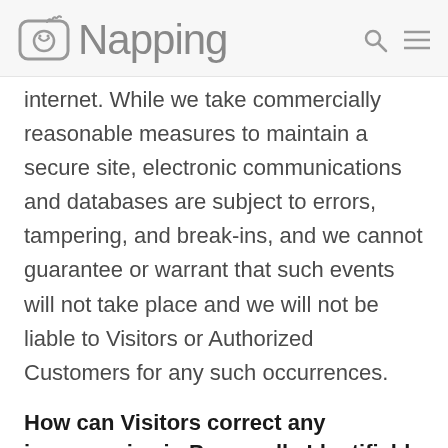Napping
internet. While we take commercially reasonable measures to maintain a secure site, electronic communications and databases are subject to errors, tampering, and break-ins, and we cannot guarantee or warrant that such events will not take place and we will not be liable to Visitors or Authorized Customers for any such occurrences.
How can Visitors correct any inaccuracies in Personally Identifiable Information?